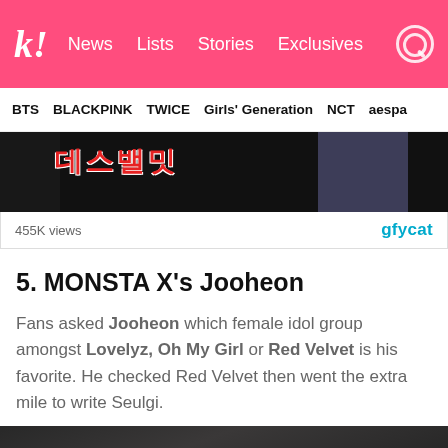K! | News | Lists | Stories | Exclusives
BTS | BLACKPINK | TWICE | Girls' Generation | NCT | aespa
[Figure (screenshot): GIF player showing Korean text and a person in dark clothing, with 455K views and gfycat logo]
5. MONSTA X's Jooheon
Fans asked Jooheon which female idol group amongst Lovelyz, Oh My Girl or Red Velvet is his favorite. He checked Red Velvet then went the extra mile to write Seulgi.
[Figure (photo): Black and white photo at bottom of page, partially visible]